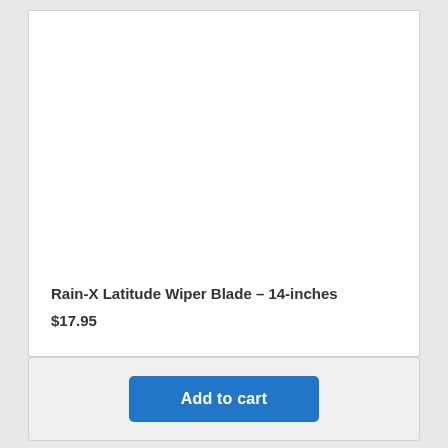[Figure (other): Product image area — white blank space for Rain-X Latitude Wiper Blade product photo]
Rain-X Latitude Wiper Blade – 14-inches
$17.95
Add to cart